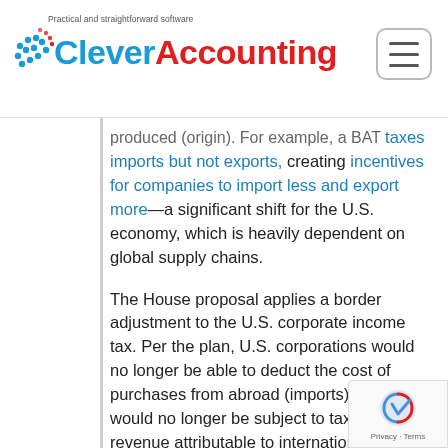Clever Accounting — Practical and straightforward software
produced (origin). For example, a BAT taxes imports but not exports, creating incentives for companies to import less and export more—a significant shift for the U.S. economy, which is heavily dependent on global supply chains.
The House proposal applies a border adjustment to the U.S. corporate income tax. Per the plan, U.S. corporations would no longer be able to deduct the cost of purchases from abroad (imports) and would no longer be subject to taxes on revenue attributable to international sales (exports).